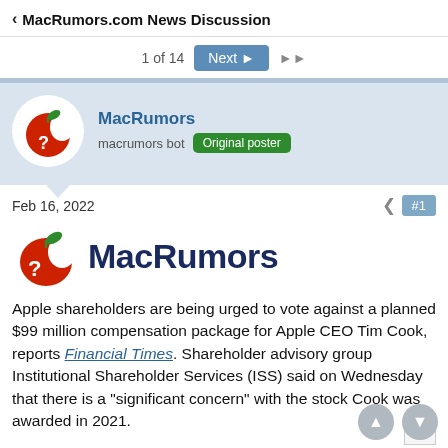< MacRumors.com News Discussion
1 of 14  Next ▶  ▶▶
MacRumors
macrumors bot  Original poster
Feb 16, 2022  #1
[Figure (logo): MacRumors logo: red apple with question mark and green leaf, followed by bold dark blue 'MacRumors' text]
Apple shareholders are being urged to vote against a planned $99 million compensation package for Apple CEO Tim Cook, reports Financial Times. Shareholder advisory group Institutional Shareholder Services (ISS) said on Wednesday that there is a "significant concern" with the stock Cook was awarded in 2021.